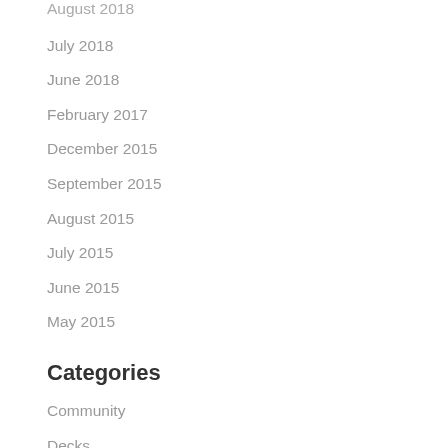August 2018
July 2018
June 2018
February 2017
December 2015
September 2015
August 2015
July 2015
June 2015
May 2015
Categories
Community
Decks
Electrical